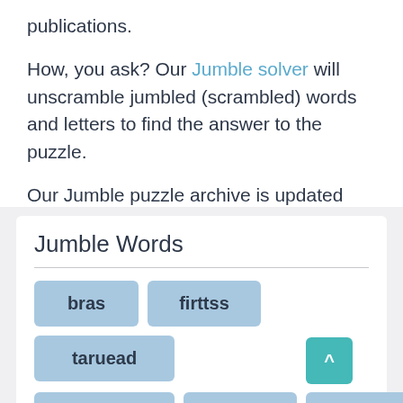publications.
How, you ask? Our Jumble solver will unscramble jumbled (scrambled) words and letters to find the answer to the puzzle.
Our Jumble puzzle archive is updated daily; you will never miss out!
Jumble Words
bras
firttss
taruead
idaenhg
netnsie
acrircs
emmulps
detse
mercis